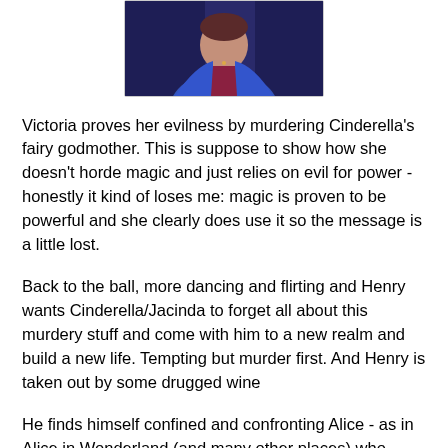[Figure (photo): A person wearing a blue jacket and dark red/maroon shirt, photographed from roughly the shoulders up, against a blurred background.]
Victoria proves her evilness by murdering Cinderella's fairy godmother. This is suppose to show how she doesn't horde magic and just relies on evil for power - honestly it kind of loses me: magic is proven to be powerful and she clearly does use it so the message is a little lost.
Back to the ball, more dancing and flirting and Henry wants Cinderella/Jacinda to forget all about this murdery stuff and come with him to a new realm and build a new life. Tempting but murder first. And Henry is taken out by some drugged wine
He finds himself confined and confronting Alice - as in Alice in Wonderland (and many other places) who disapproves of him meddling in other people's stories. She warns him terribad things will happen